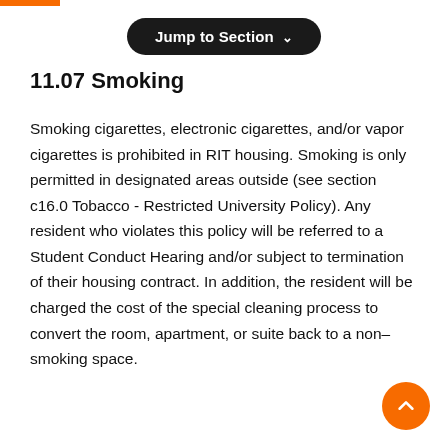Jump to Section
11.07 Smoking
Smoking cigarettes, electronic cigarettes, and/or vapor cigarettes is prohibited in RIT housing. Smoking is only permitted in designated areas outside (see section c16.0 Tobacco - Restricted University Policy). Any resident who violates this policy will be referred to a Student Conduct Hearing and/or subject to termination of their housing contract. In addition, the resident will be charged the cost of the special cleaning process to convert the room, apartment, or suite back to a non–smoking space.